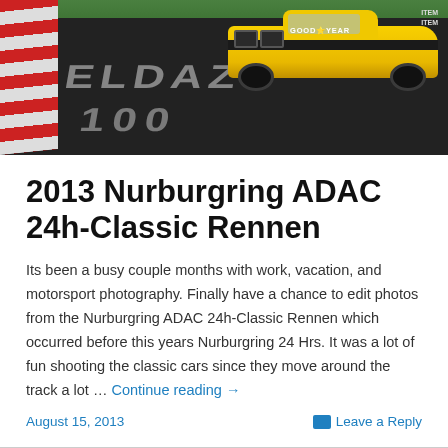[Figure (photo): A yellow race car on a dark asphalt track at the Nurburgring, with red and white curbs on the left side. Track markings visible on the road surface.]
2013 Nurburgring ADAC 24h-Classic Rennen
Its been a busy couple months with work, vacation, and motorsport photography. Finally have a chance to edit photos from the Nurburgring ADAC 24h-Classic Rennen which occurred before this years Nurburgring 24 Hrs. It was a lot of fun shooting the classic cars since they move around the track a lot … Continue reading →
August 15, 2013
Leave a Reply